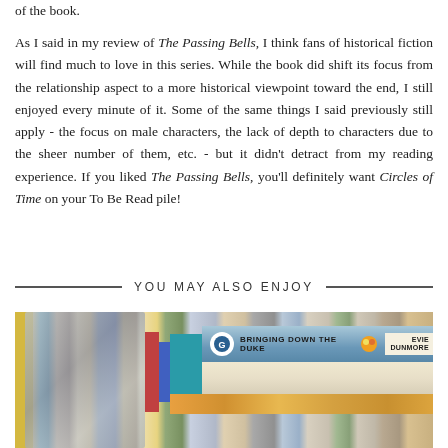of the book.
As I said in my review of The Passing Bells, I think fans of historical fiction will find much to love in this series. While the book did shift its focus from the relationship aspect to a more historical viewpoint toward the end, I still enjoyed every minute of it. Some of the same things I said previously still apply - the focus on male characters, the lack of depth to characters due to the sheer number of them, etc. - but it didn't detract from my reading experience. If you liked The Passing Bells, you'll definitely want Circles of Time on your To Be Read pile!
YOU MAY ALSO ENJOY
[Figure (photo): A photo of stacked books on a shelf, with the top book spine reading 'BRINGING DOWN THE DUKE' by Evie Dunmore, on a teal/blue spine. Books are stacked horizontally and vertically.]